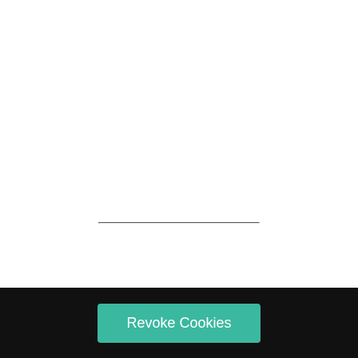Written by Joe · Categorized: Delta Airlines, Family Travel, Travel Planning · Tagged: Delta Airlines, Travel Delays, Travel Planning
Revoke Cookies